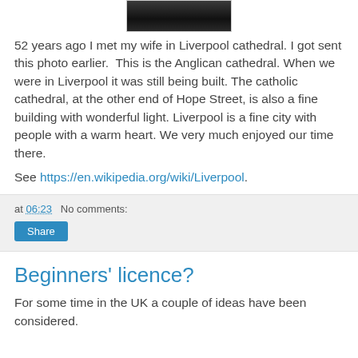[Figure (photo): A dark photograph, likely of a cathedral interior or exterior, shown as a small thumbnail at the top center of the page.]
52 years ago I met my wife in Liverpool cathedral. I got sent this photo earlier.  This is the Anglican cathedral. When we were in Liverpool it was still being built. The catholic cathedral, at the other end of Hope Street, is also a fine building with wonderful light. Liverpool is a fine city with people with a warm heart. We very much enjoyed our time there.
See https://en.wikipedia.org/wiki/Liverpool.
at 06:23   No comments:
Share
Beginners' licence?
For some time in the UK a couple of ideas have been considered.